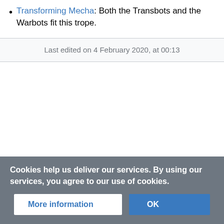Transforming Mecha: Both the Transbots and the Warbots fit this trope.
Last edited on 4 February 2020, at 00:13
Cookies help us deliver our services. By using our services, you agree to our use of cookies.